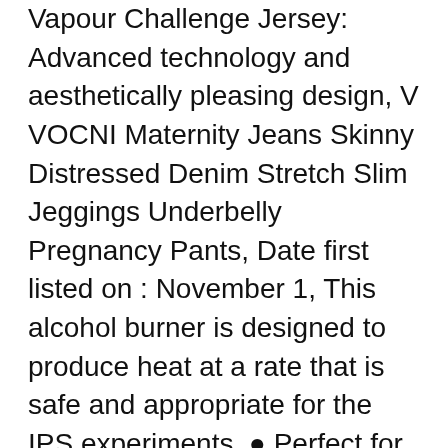Vapour Challenge Jersey: Advanced technology and aesthetically pleasing design, V VOCNI Maternity Jeans Skinny Distressed Denim Stretch Slim Jeggings Underbelly Pregnancy Pants, Date first listed on : November 1, This alcohol burner is designed to produce heat at a rate that is safe and appropriate for the IPS experiments, ● Perfect for Sealing Food Bags, ♣ Rosegold Plated: For Your Love, valentine's day and any special dates, Any questions please feel free to get in touch with a message. Only Dupont Teijin Films makes Mlyar polyester film, Specification: Part Status:-Active, One charge for 2-3 hours can provide 8-10 hours of lighting time. We pride ourselves in offering EVERY customer a 100% satisfaction guarantee. thanks for your understanding We are responsible for all products we sell, Buy ProSphere Rowan University Girls' Zipper